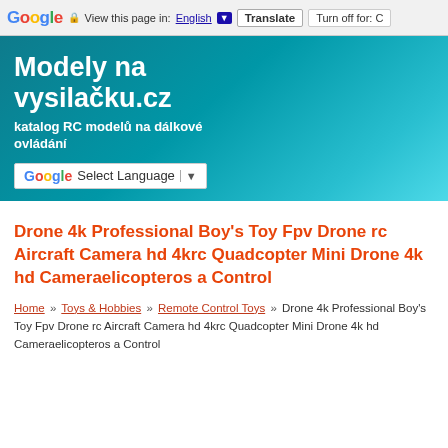Google  View this page in: English ▼  Translate  Turn off for: C
[Figure (screenshot): Modely na vysilacku.cz website header banner with teal/blue gradient background showing site title and subtitle, with a Google Select Language widget]
Drone 4k Professional Boy's Toy Fpv Drone rc Aircraft Camera hd 4krc Quadcopter Mini Drone 4k hd Cameraelicopteros a Control
Home » Toys & Hobbies » Remote Control Toys » Drone 4k Professional Boy's Toy Fpv Drone rc Aircraft Camera hd 4krc Quadcopter Mini Drone 4k hd Cameraelicopteros a Control